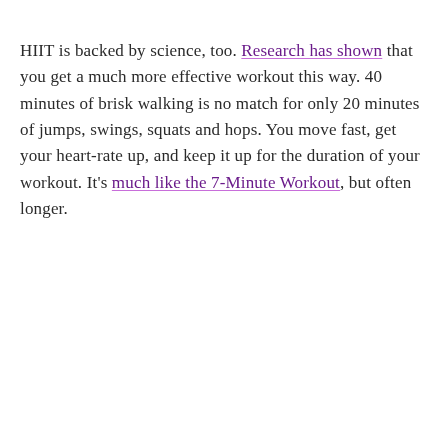HIIT is backed by science, too. Research has shown that you get a much more effective workout this way. 40 minutes of brisk walking is no match for only 20 minutes of jumps, swings, squats and hops. You move fast, get your heart-rate up, and keep it up for the duration of your workout. It's much like the 7-Minute Workout, but often longer.